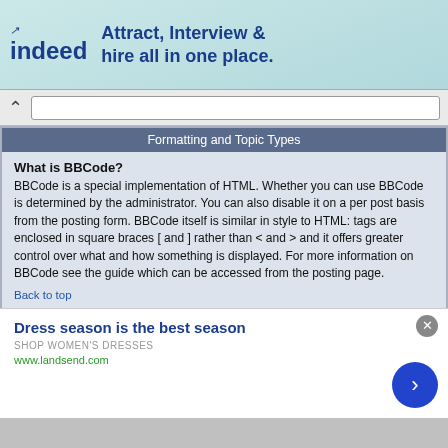[Figure (screenshot): Indeed advertisement banner: 'Attract, Interview & hire all in one place.']
[Figure (screenshot): Browser navigation bar with back arrow and URL bar]
Formatting and Topic Types
What is BBCode?
BBCode is a special implementation of HTML. Whether you can use BBCode is determined by the administrator. You can also disable it on a per post basis from the posting form. BBCode itself is similar in style to HTML: tags are enclosed in square braces [ and ] rather than < and > and it offers greater control over what and how something is displayed. For more information on BBCode see the guide which can be accessed from the posting page.
Back to top
Can I use HTML?
That depends on whether the administrator allows you to; they have complete control over it. If you are allowed to use it, you will probably find only certain tags work. This is a safety feature to prevent people from abusing the board by using tags which may destroy the layout or cause other problems. If HTML is enabled you can disable it on a per post basis from the posting form.
[Figure (screenshot): Advertisement banner: 'Dress season is the best season - SHOP WOMEN'S DRESSES - www.landsend.com' with blue arrow button]